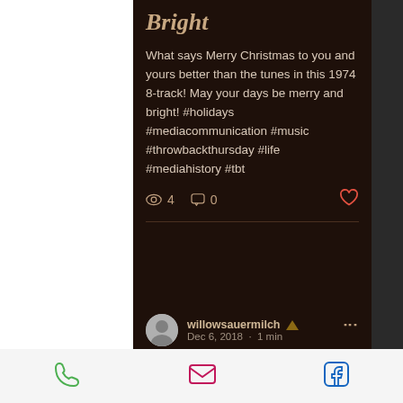Bright
What says Merry Christmas to you and yours better than the tunes in this 1974 8-track! May your days be merry and bright! #holidays #mediacommunication #music #throwbackthursday #life #mediahistory #tbt
👁 4   💬 0   ♡
willowsauermilch 👑
Dec 6, 2018 · 1 min
Throwback Thursday
Phone | Email | Facebook